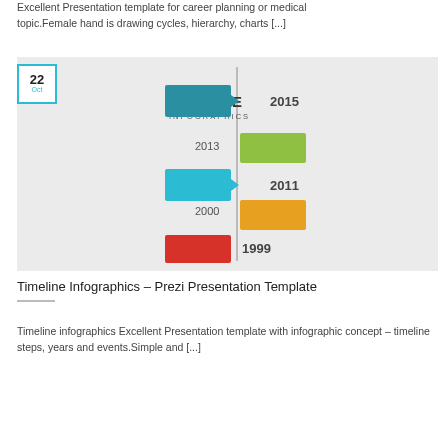Excellent Presentation template for career planning or medical topic.Female hand is drawing cycles, hierarchy, charts [...]
[Figure (infographic): Timeline Infographics image showing a vertical timeline with colored boxes and years: 2015 (teal/blue box left), 2013 (green box right), 2011 (teal box left), 2000 (orange box right), 1999 (red box left). Text reads 'TIMELINE INFOGRAPHICS'. Date badge shows '22 Oct' in cyan border overlay.]
Timeline Infographics – Prezi Presentation Template
Timeline infographics Excellent Presentation template with infographic concept – timeline steps, years and events.Simple and [...]